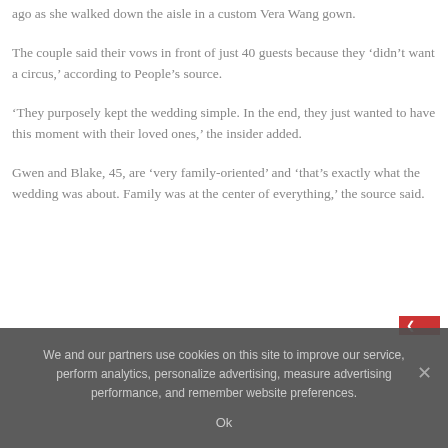ago as she walked down the aisle in a custom Vera Wang gown.
The couple said their vows in front of just 40 guests because they ‘didn’t want a circus,’ according to People’s source.
‘They purposely kept the wedding simple. In the end, they just wanted to have this moment with their loved ones,’ the insider added.
Gwen and Blake, 45, are ‘very family-oriented’ and ‘that’s exactly what the wedding was about. Family was at the center of everything,’ the source said.
We and our partners use cookies on this site to improve our service, perform analytics, personalize advertising, measure advertising performance, and remember website preferences.
Ok